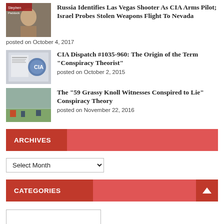[Figure (photo): Thumbnail photo of Stephen Paddock]
Russia Identifies Las Vegas Shooter As CIA Arms Pilot; Israel Probes Stolen Weapons Flight To Nevada
posted on October 4, 2017
[Figure (photo): Thumbnail image of CIA dispatch document]
CIA Dispatch #1035-960: The Origin of the Term “Conspiracy Theorist”
posted on October 2, 2015
[Figure (photo): Thumbnail photo of grassy knoll scene]
The “59 Grassy Knoll Witnesses Conspired to Lie” Conspiracy Theory
posted on November 22, 2016
ARCHIVES
Select Month
CATEGORIES